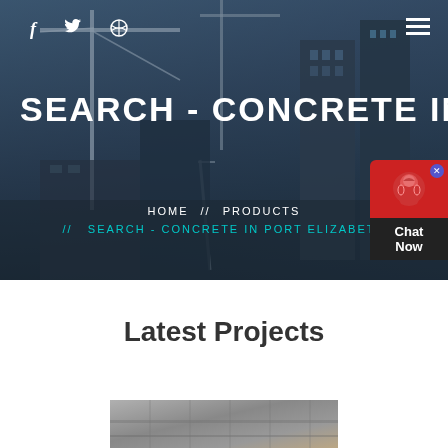f  🐦  ⊕  ☰
SEARCH - CONCRETE IN PORT E
HOME  //  PRODUCTS  //  SEARCH - CONCRETE IN PORT ELIZABETH
[Figure (screenshot): Chat Now widget with red background and headset icon]
[Figure (photo): Construction site hero background with cranes and buildings]
Latest Projects
[Figure (photo): Construction/concrete project photo]